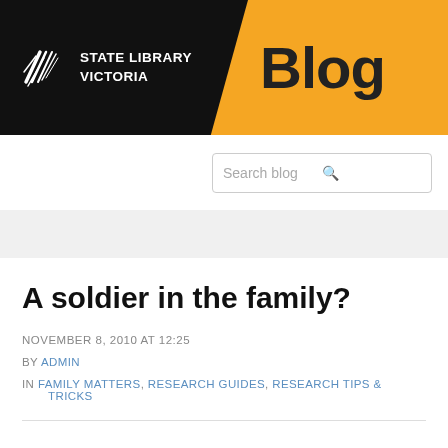STATE LIBRARY VICTORIA Blog
[Figure (logo): State Library Victoria logo with geometric white lines icon on black background, and 'Blog' text on orange/yellow background]
A soldier in the family?
NOVEMBER 8, 2010 AT 12:25
BY ADMIN
IN FAMILY MATTERS, RESEARCH GUIDES, RESEARCH TIPS & TRICKS